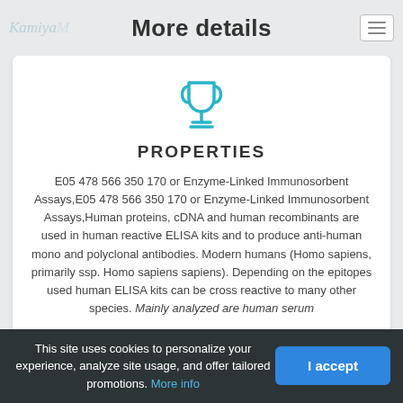More details
[Figure (illustration): Trophy/cup icon in teal/cyan color]
PROPERTIES
E05 478 566 350 170 or Enzyme-Linked Immunosorbent Assays,E05 478 566 350 170 or Enzyme-Linked Immunosorbent Assays,Human proteins, cDNA and human recombinants are used in human reactive ELISA kits and to produce anti-human mono and polyclonal antibodies. Modern humans (Homo sapiens, primarily ssp. Homo sapiens sapiens). Depending on the epitopes used human ELISA kits can be cross reactive to many other species. Mainly analyzed are human serum
This site uses cookies to personalize your experience, analyze site usage, and offer tailored promotions. More info
I accept